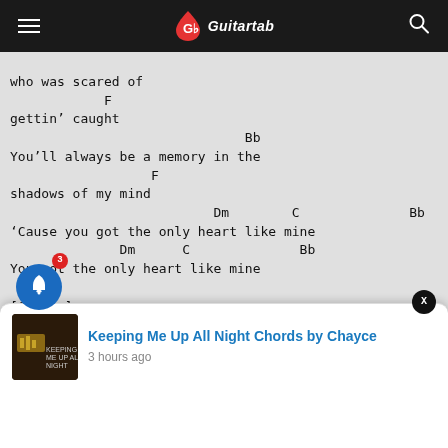Guitar-tabs header with hamburger menu, logo (Guitartab), and search icon
who was scared of
            F
gettin' caught
                              Bb
You'll always be a memory in the
                  F
shadows of my mind
                          Dm        C                Bb
'Cause you got the only heart like mine
              Dm      C              Bb
You got the only heart like mine

[Chorus]


          Bb
Keeping Me Up All Night Chords by Chayce
3 hours ago